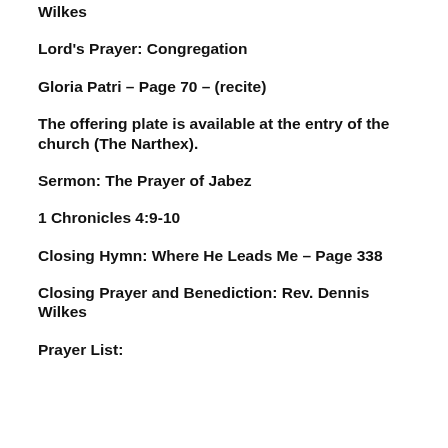Wilkes
Lord's Prayer: Congregation
Gloria Patri – Page 70 – (recite)
The offering plate is available at the entry of the church (The Narthex).
Sermon: The Prayer of Jabez
1 Chronicles 4:9-10
Closing Hymn: Where He Leads Me – Page 338
Closing Prayer and Benediction: Rev. Dennis Wilkes
Prayer List: